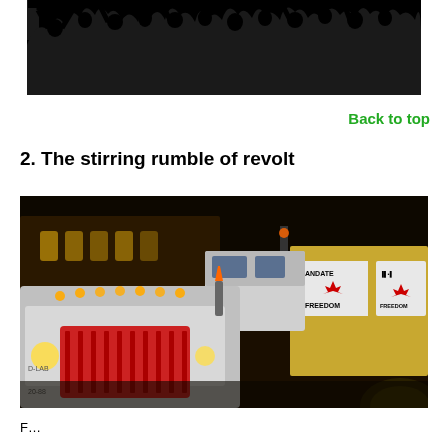[Figure (illustration): Black and white silhouette image of a crowd of people with raised arms and flags, protest scene]
Back to top
2. The stirring rumble of revolt
[Figure (photo): Night-time photo of large transport trucks in a convoy, with signs reading 'MANDATE FREEDOM' and Canadian maple leaf logos on a yellow trailer. Pink/red Peterbilt truck in foreground.]
F...